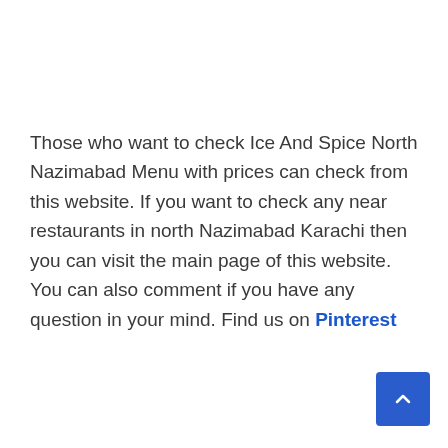Those who want to check Ice And Spice North Nazimabad Menu with prices can check from this website. If you want to check any near restaurants in north Nazimabad Karachi then you can visit the main page of this website. You can also comment if you have any question in your mind. Find us on Pinterest